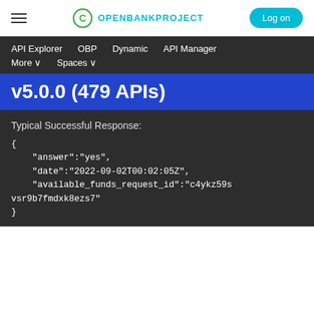OPENBANKPROJECT  Log on
API Explorer  OBP  Dynamic  API Manager  More  Spaces
v5.0.0 (479 APIs)
Typical Successful Response:
{
    "answer":"yes",
    "date":"2022-09-02T00:02:05Z",
    "available_funds_request_id":"c4ykz59svsr9b7fmdxk8ezs7"
}